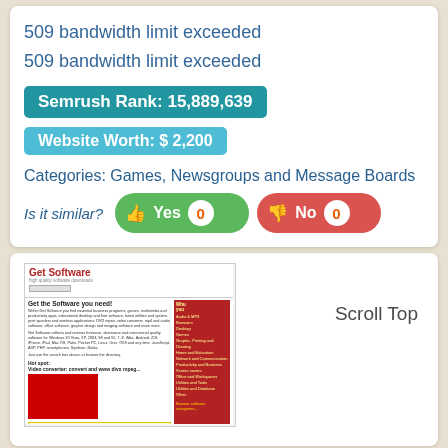509 bandwidth limit exceeded
509 bandwidth limit exceeded
Semrush Rank: 15,889,639
Website Worth: $ 2,200
Categories: Games, Newsgroups and Message Boards
Is it similar? Yes 0   No 0
[Figure (screenshot): Screenshot of Get Software website with 'Get the Software you need!' heading, sidebar navigation, featured software section, and siteprice.org badge. 'Scroll Top' text appears to the right of the screenshot.]